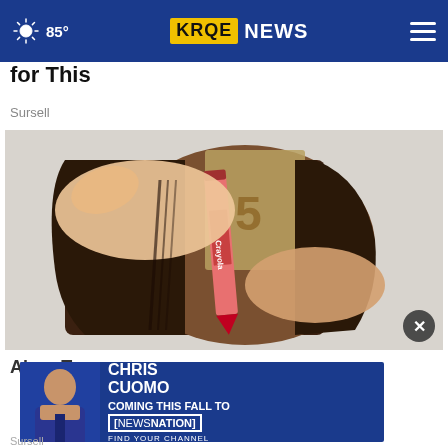85° KRQE NEWS
for This
Sursell
[Figure (photo): Hands opening a brown leather wallet with a Crayola crayon inside and currency visible]
Alw... Trav...
[Figure (screenshot): Advertisement banner: Chris Cuomo - Coming This Fall To NewsNation - Find Your Channel]